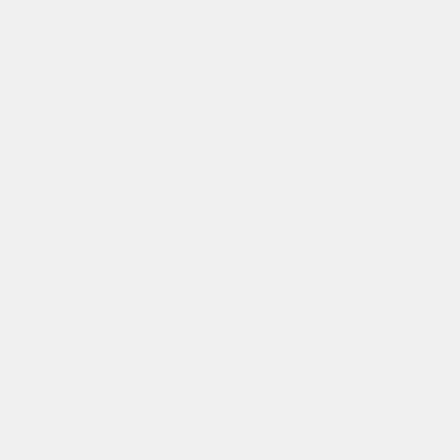you can just continue in a new command shell (but remember to call "prep.bat"). Once all is done, you can safely delete the boost_1_4x_0 directory. If you get the warning, that some targets were skipped or failed, it can be ignored